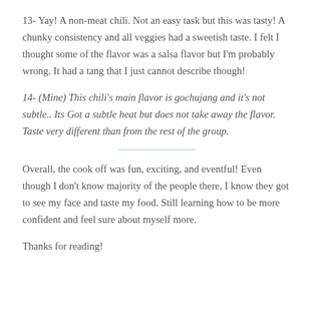13- Yay! A non-meat chili. Not an easy task but this was tasty! A chunky consistency and all veggies had a sweetish taste. I felt I thought some of the flavor was a salsa flavor but I'm probably wrong. It had a tang that I just cannot describe though!
14- (Mine) This chili's main flavor is gochujang and it's not subtle.. Its Got a subtle heat but does not take away the flavor. Taste very different than from the rest of the group.
Overall, the cook off was fun, exciting, and eventful! Even though I don't know majority of the people there, I know they got to see my face and taste my food. Still learning how to be more confident and feel sure about myself more.
Thanks for reading!